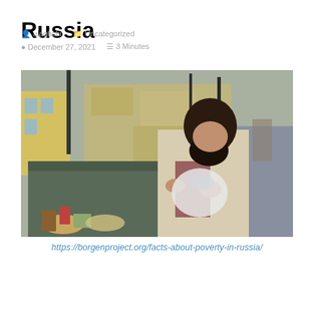Russia
ulaghchi   Uncategorized
December 27, 2021   3 Minutes
[Figure (photo): A bearded man in a light jacket searching through a large outdoor dumpster/trash bin on a city street, with yellow buildings and bare trees in the background. The photo illustrates poverty in Russia.]
https://borgenproject.org/facts-about-poverty-in-russia/